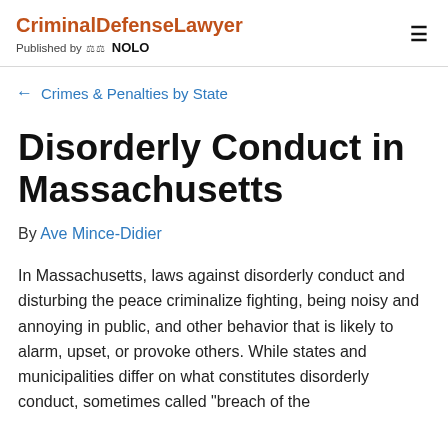CriminalDefenseLawyer — Published by NOLO
← Crimes & Penalties by State
Disorderly Conduct in Massachusetts
By Ave Mince-Didier
In Massachusetts, laws against disorderly conduct and disturbing the peace criminalize fighting, being noisy and annoying in public, and other behavior that is likely to alarm, upset, or provoke others. While states and municipalities differ on what constitutes disorderly conduct, sometimes called "breach of the